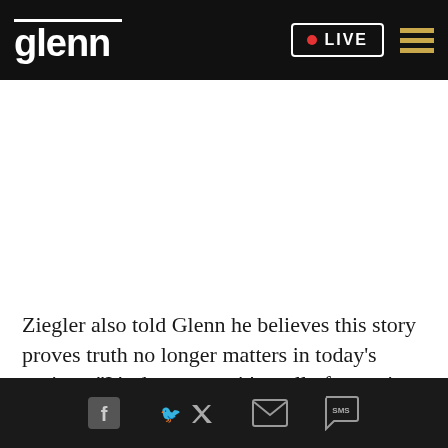glenn  LIVE
Ziegler also told Glenn he believes this story proves truth no longer matters in today's society: "It's dangerous, it's really frustrating, and it's really sad."
Social share icons: Facebook, Twitter, Email, SMS